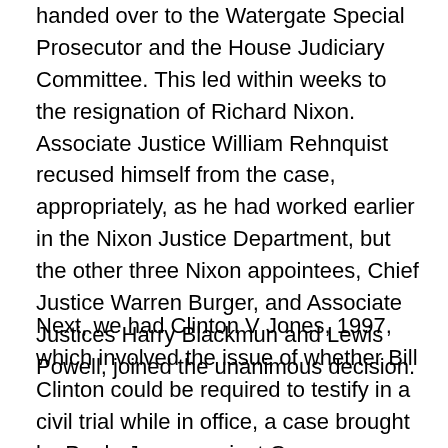handed over to the Watergate Special Prosecutor and the House Judiciary Committee. This led within weeks to the resignation of Richard Nixon. Associate Justice William Rehnquist recused himself from the case, appropriately, as he had worked earlier in the Nixon Justice Department, but the other three Nixon appointees, Chief Justice Warren Burger, and Associate Justices Harry Blackmun and Lewis Powell, joined the unanimous decision.
Next, we had Clinton V Jones, 1997, which involved the issue of whether Bill Clinton could be required to testify in a civil trial while in office, a case brought by Paula Jones against Governor Clinton for sexual harrassment. The Court unanimously, 9-0, including his two appointees, Ruth Bader Ginsburg and Stephen Breyer, ruled